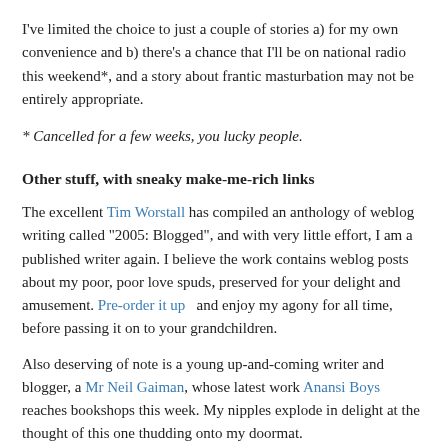I've limited the choice to just a couple of stories a) for my own convenience and b) there's a chance that I'll be on national radio this weekend*, and a story about frantic masturbation may not be entirely appropriate.
* Cancelled for a few weeks, you lucky people.
Other stuff, with sneaky make-me-rich links
The excellent Tim Worstall has compiled an anthology of weblog writing called "2005: Blogged", and with very little effort, I am a published writer again. I believe the work contains weblog posts about my poor, poor love spuds, preserved for your delight and amusement. Pre-order it up   and enjoy my agony for all time, before passing it on to your grandchildren.
Also deserving of note is a young up-and-coming writer and blogger, a Mr Neil Gaiman, whose latest work Anansi Boys reaches bookshops this week. My nipples explode in delight at the thought of this one thudding onto my doormat.